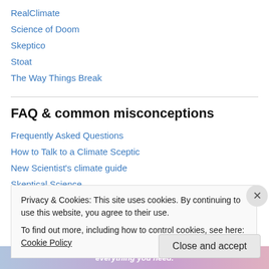RealClimate
Science of Doom
Skeptico
Stoat
The Way Things Break
FAQ & common misconceptions
Frequently Asked Questions
How to Talk to a Climate Sceptic
New Scientist's climate guide
Skeptical Science
Youtube – Climate speak...
Privacy & Cookies: This site uses cookies. By continuing to use this website, you agree to their use. To find out more, including how to control cookies, see here: Cookie Policy
Close and accept
everything you need.